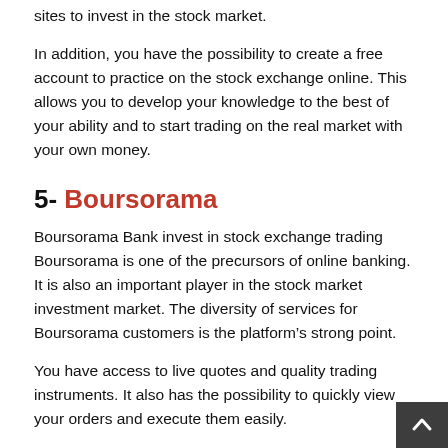sites to invest in the stock market.
In addition, you have the possibility to create a free account to practice on the stock exchange online. This allows you to develop your knowledge to the best of your ability and to start trading on the real market with your own money.
5- Boursorama
Boursorama Bank invest in stock exchange trading Boursorama is one of the precursors of online banking. It is also an important player in the stock market investment market. The diversity of services for Boursorama customers is the platform’s strong point.
You have access to live quotes and quality trading instruments. It also has the possibility to quickly view your orders and execute them easily.
Boursorama allows you to place orders directly with